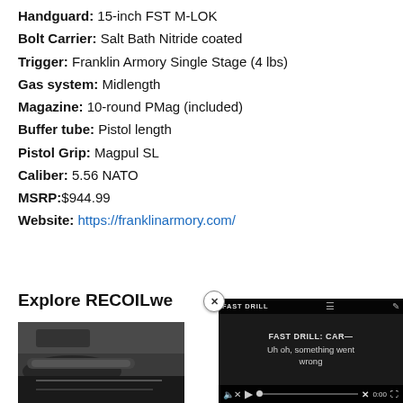Handguard: 15-inch FST M-LOK
Bolt Carrier: Salt Bath Nitride coated
Trigger: Franklin Armory Single Stage (4 lbs)
Gas system: Midlength
Magazine: 10-round PMag (included)
Buffer tube: Pistol length
Pistol Grip: Magpul SL
Caliber: 5.56 NATO
MSRP:$944.99
Website: https://franklinarmory.com/
Explore RECOILwe
[Figure (photo): Partial photo of gun/firearm components]
[Figure (screenshot): Video player overlay showing 'FAST DRILL: CAR—' with error message 'Uh oh, something went wrong' and video controls at 0:00]